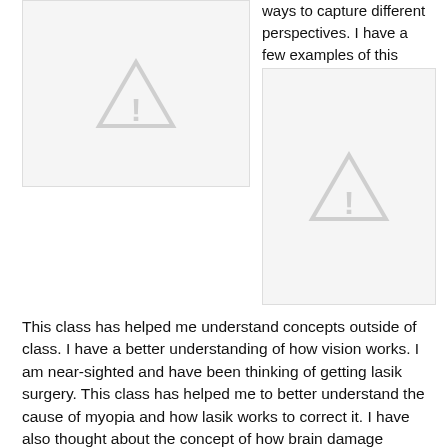[Figure (photo): Image placeholder with warning triangle icon, left column]
ways to capture different perspectives. I have a few examples of this from pictures I have taken.
[Figure (photo): Image placeholder with warning triangle icon, right column]
This class has helped me understand concepts outside of class. I have a better understanding of how vision works. I am near-sighted and have been thinking of getting lasik surgery. This class has helped me to better understand the cause of myopia and how lasik works to correct it. I have also thought about the concept of how brain damage occurs in different areas of the brain. Learning about aphasias has